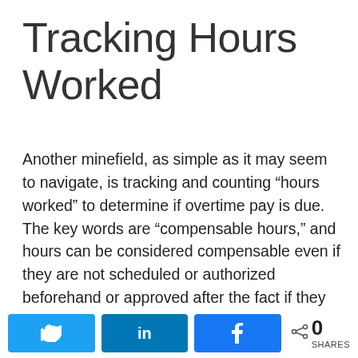Tracking Hours Worked
Another minefield, as simple as it may seem to navigate, is tracking and counting “hours worked” to determine if overtime pay is due. The key words are “compensable hours,” and hours can be considered compensable even if they are not scheduled or authorized beforehand or approved after the fact if they are indeed “worked” by the employee. The time is worked for purposes of the FLSA if the employer “suffers” or “permits” it to be worked. That is, if the employer, or one of its “agents” for this purpose (head nurse, unit coordinator, department head or,
Twitter share | LinkedIn share | Facebook share | 0 SHARES